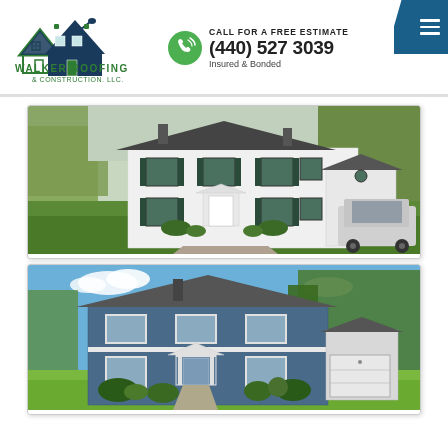[Figure (logo): Walker Roofing & Construction LLC logo with house outline and green roof]
CALL FOR A FREE ESTIMATE
(440) 527 3039
Insured & Bonded
[Figure (photo): White two-story colonial house with dark green shutters, green lawn, and SUV in driveway - before photo]
[Figure (photo): Blue two-story colonial house with white trim, new siding and landscaping - after photo]